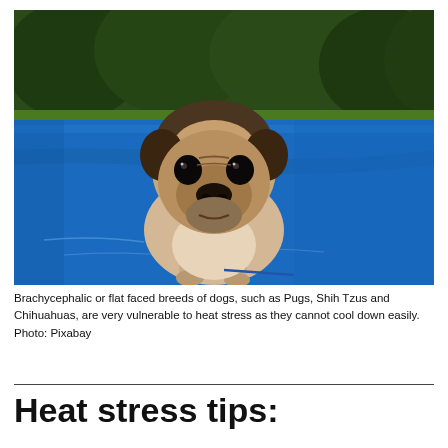[Figure (photo): A pug dog standing inside a blue plastic kiddie pool, looking at the camera. Green trees and grass are visible in the background.]
Brachycephalic or flat faced breeds of dogs, such as Pugs, Shih Tzus and Chihuahuas, are very vulnerable to heat stress as they cannot cool down easily. Photo: Pixabay
Heat stress tips: